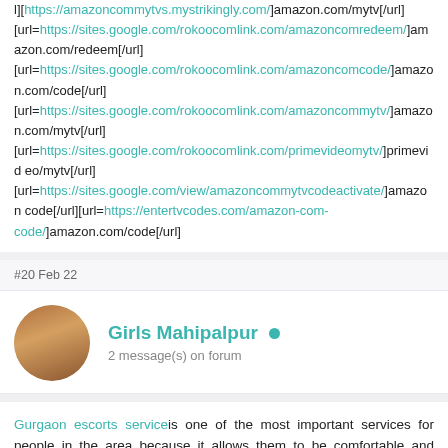l][url=https://amazoncommytvs.mystrikingly.com/]amazon.com/mytv[/url] [url=https://sites.google.com/rokoocomlink.com/amazoncomredeem/]amazon.com/redeem[/url] [url=https://sites.google.com/rokoocomlink.com/amazoncomcode/]amazon.com/code[/url] [url=https://sites.google.com/rokoocomlink.com/amazoncommytv/]amazon.com/mytv[/url] [url=https://sites.google.com/rokoocomlink.com/primevideomytv/]primevideo/mytv[/url] [url=https://sites.google.com/view/amazoncommytvcodeactivate/]amazoncode[/url][url=https://entertvcodes.com/amazon-com-code/]amazon.com/code[/url]
#20 Feb 22
Girls Mahipalpur • 2 message(s) on forum
Gurgaon escorts service is one of the most important services for people in the area because it allows them to be comfortable and relaxed with movements that they believe can only happen in their imagination.